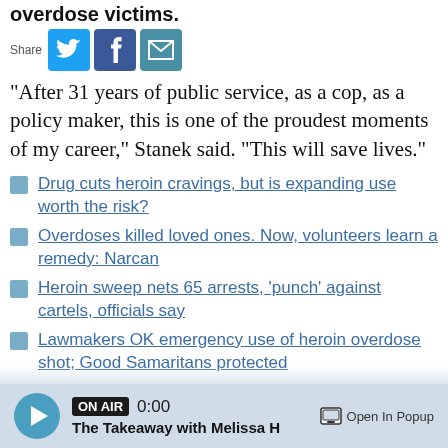overdose victims.
[Figure (screenshot): Share buttons row with Twitter, Facebook, and email icons]
"After 31 years of public service, as a cop, as a policy maker, this is one of the proudest moments of my career," Stanek said. "This will save lives."
Drug cuts heroin cravings, but is expanding use worth the risk?
Overdoses killed loved ones. Now, volunteers learn a remedy: Narcan
Heroin sweep nets 65 arrests, 'punch' against cartels, officials say
Lawmakers OK emergency use of heroin overdose shot; Good Samaritans protected
'We're all paying:' Heroin spreads misery in US
ON AIR 0:00 The Takeaway with Melissa H  Open In Popup